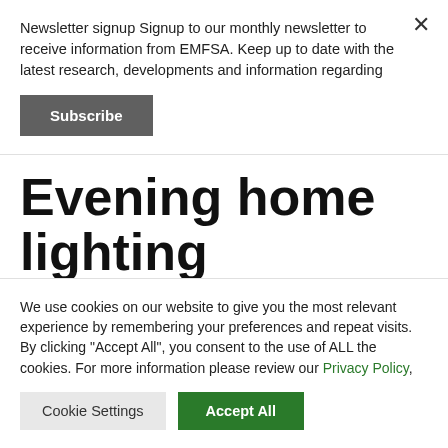Newsletter signup Signup to our monthly newsletter to receive information from EMFSA. Keep up to date with the latest research, developments and information regarding
Subscribe
Evening home lighting adversely impacts the
We use cookies on our website to give you the most relevant experience by remembering your preferences and repeat visits. By clicking “Accept All”, you consent to the use of ALL the cookies. For more information please review our Privacy Policy,
Cookie Settings
Accept All